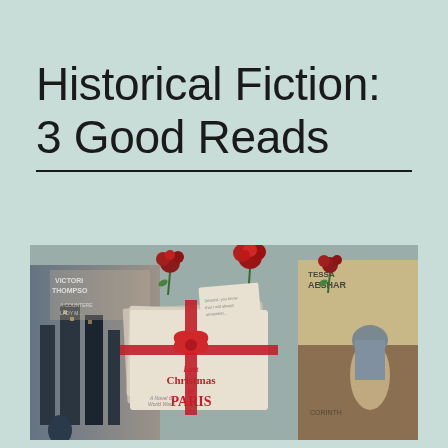Historical Fiction: 3 Good Reads
[Figure (photo): Photo of three historical fiction books arranged with red roses on top. Visible book titles include 'Last Christmas in Paris' (shown as a wrapped gift in the center), 'Victoria Thompson' book on the left, and 'Tessa Afshar' book on the right.]